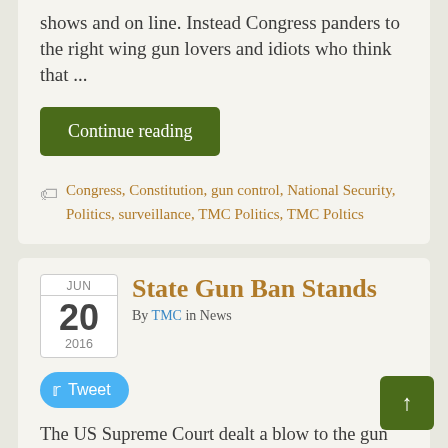shows and on line. Instead Congress panders to the right wing gun lovers and idiots who think that ...
Continue reading
Congress, Constitution, gun control, National Security, Politics, surveillance, TMC Politics, TMC Poltics
State Gun Ban Stands
By TMC in News
Tweet
The US Supreme Court dealt a blow to the gun lobby and the NRA by declining to hear a challenge to Connecticut and New York laws that bans military s... semi-automatic weapons, their parts and large capacity